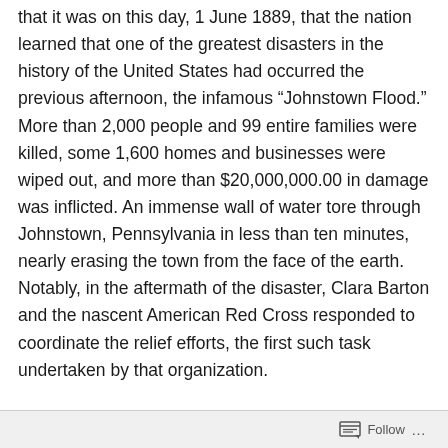that it was on this day, 1 June 1889, that the nation learned that one of the greatest disasters in the history of the United States had occurred the previous afternoon, the infamous “Johnstown Flood.” More than 2,000 people and 99 entire families were killed, some 1,600 homes and businesses were wiped out, and more than $20,000,000.00 in damage was inflicted. An immense wall of water tore through Johnstown, Pennsylvania in less than ten minutes, nearly erasing the town from the face of the earth. Notably, in the aftermath of the disaster, Clara Barton and the nascent American Red Cross responded to coordinate the relief efforts, the first such task undertaken by that organization.
The flood was, in reality, a man-made catastrophe. Several days of heavy rains had caused all the streams
Follow ...